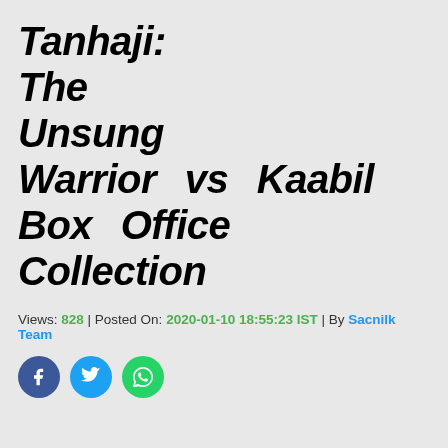Tanhaji: The Unsung Warrior vs Kaabil Box Office Collection
Views: 828 | Posted On: 2020-01-10 18:55:23 IST | By Sacnilk Team
[Figure (infographic): Social media share buttons: Facebook (blue circle), Twitter (light blue circle), WhatsApp (green circle)]